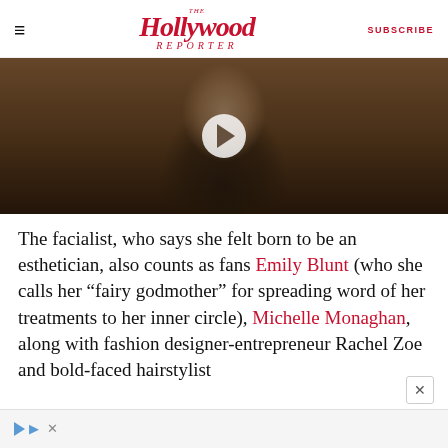The Hollywood Reporter | SUBSCRIBE
[Figure (photo): Video thumbnail of a woman with red hair, dark background, with a play button overlay]
The facialist, who says she felt born to be an esthetician, also counts as fans Emily Blunt (who she calls her “fairy godmother” for spreading word of her treatments to her inner circle), Michelle Monaghan, along with fashion designer-entrepreneur Rachel Zoe and bold-faced hairstylist